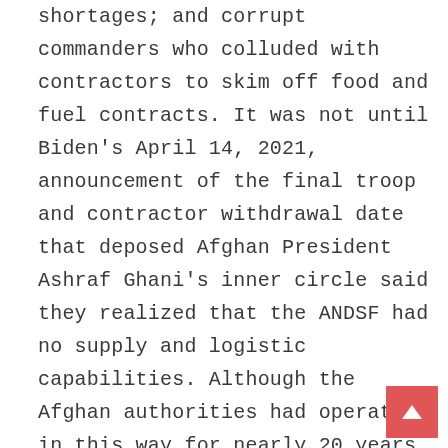shortages; and corrupt commanders who colluded with contractors to skim off food and fuel contracts. It was not until Biden's April 14, 2021, announcement of the final troop and contractor withdrawal date that deposed Afghan President Ashraf Ghani's inner circle said they realized that the ANDSF had no supply and logistic capabilities. Although the Afghan authorities had operated in this way for nearly 20 years, their realization came only four months before its collapse, the